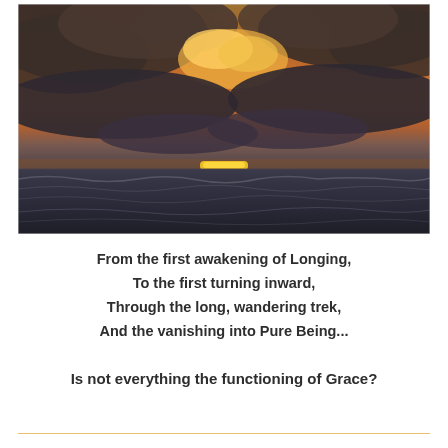[Figure (photo): Sunset over ocean with dramatic orange and dark clouds, sun barely visible as a small glowing yellow sliver just above the horizon on dark choppy water]
From the first awakening of Longing,
To the first turning inward,
Through the long, wandering trek,
And the vanishing into Pure Being...
Is not everything the functioning of Grace?